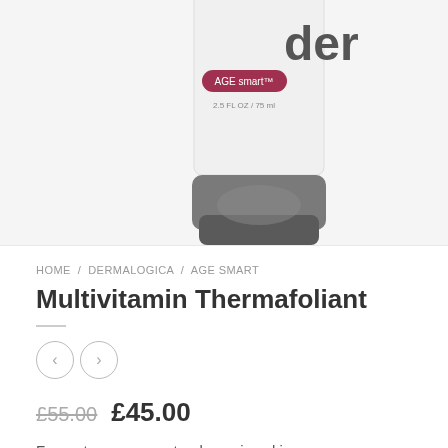[Figure (photo): Dermalogica Age Smart Multivitamin Thermafoliant product bottle, white tube with grey cap and dark red Age smart label, showing 2.5 FL OZ / 75 ml, partially cropped at top]
HOME / DERMALOGICA / AGE SMART
Multivitamin Thermafoliant
£55.00  £45.00
For mature or prematurely-ageing skin.